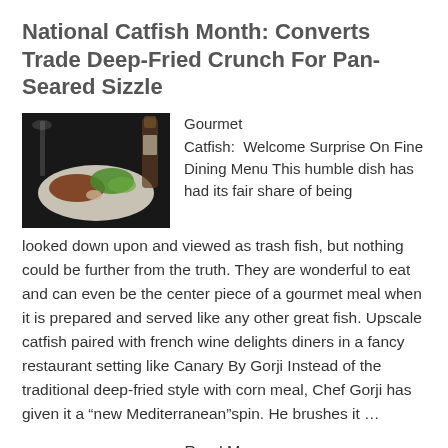National Catfish Month: Converts Trade Deep-Fried Crunch For Pan-Seared Sizzle
[Figure (photo): Photo of a plated catfish dish with green garnish and wine bottle in background]
Gourmet
Catfish:  Welcome Surprise On Fine Dining Menu This humble dish has had its fair share of being looked down upon and viewed as trash fish, but nothing could be further from the truth. They are wonderful to eat and can even be the center piece of a gourmet meal when it is prepared and served like any other great fish. Upscale catfish paired with french wine delights diners in a fancy restaurant setting like Canary By Gorji Instead of the traditional deep-fried style with corn meal, Chef Gorji has given it a “new Mediterranean”spin. He brushes it …
Read More
August 19, 2014